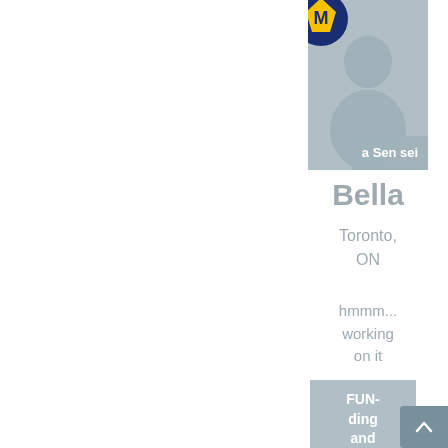[Figure (photo): Profile card for Bella with role label 'a Sensei' and logo overlay]
Bella
Toronto, ON
hmmm... working on it
FUN-ding and Develop
[Figure (photo): Profile card for Kat with role label 'Coordinator' and logo overlay]
Kat
Philadelphia, PA
"Don't complain about something unless you are willing to do something to change
Stud